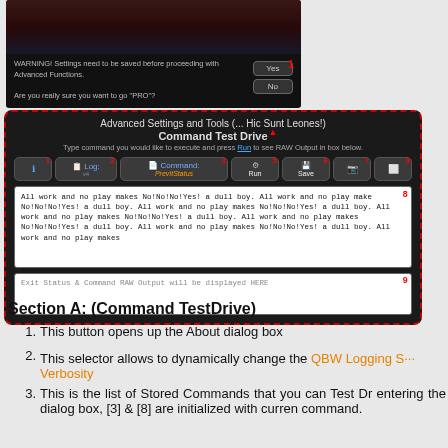[Figure (screenshot): Screenshot of a dark-themed application showing a warning dialog with text 'WARNING! Settings need to be saved before proceeding with Advanced Functions. Are you really sure you want to go PRO?' and Yes/No buttons, with a red number 1 annotation on the Yes button.]
[Figure (screenshot): Advanced Settings and Tools panel with Command Test Drive interface, showing toolbar buttons labeled Log, Command (with PrevItStatus), Run, Save, and other icons numbered 1-9 in red. Contains a text output area with repeated 'All work and no play makes No!No!No!Yes! a dull boy.' text and a status output area labeled 'Exit Status & Command RAW Output will be displayed HERE'.]
Section A: (Command TestDrive)
1. This button opens up the About dialog box
2. This selector allows to dynamically change the QBW Logging S... Verbosity
3. This is the list of Stored Commands that you can Test Dr... entering the dialog box, [3] & [8] are initialized with curren... command.